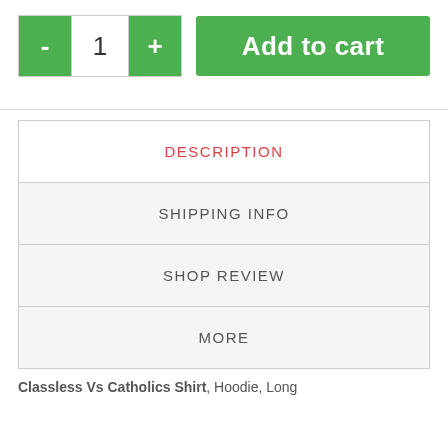[Figure (screenshot): Add to cart UI with quantity controls (minus button, quantity 1, plus button) and a green Add to cart button]
| DESCRIPTION |
| SHIPPING INFO |
| SHOP REVIEW |
| MORE |
Classless Vs Catholics Shirt, Hoodie, Long